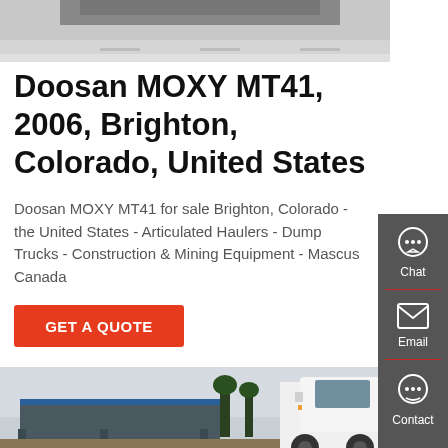[Figure (photo): Top portion of a vehicle/truck on a road surface, grey background]
Doosan MOXY MT41, 2006, Brighton, Colorado, United States
Doosan MOXY MT41 for sale Brighton, Colorado - the United States - Articulated Haulers - Dump Trucks - Construction & Mining Equipment - Mascus Canada
GET A QUOTE
[Figure (photo): White dump truck / articulated hauler (Doosan MOXY MT41) parked at a facility with a canopy structure and trees in the background]
[Figure (infographic): Sidebar with Chat, Email, and Contact action buttons on dark grey background]